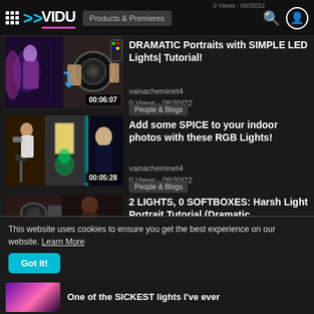VIDU — Products & Premieres — 0 Views · 08/30/22
[Figure (screenshot): Thumbnail for DRAMATIC Portraits with SIMPLE LED Lights Tutorial, duration 00:06:07]
DRAMATIC Portraits with SIMPLE LED Lights| Tutorial!
vainacheminet4
0 Views · 08/30/22
People & Blogs
[Figure (screenshot): Thumbnail for Add some SPICE to your indoor photos with these RGB Lights!, duration 00:05:28]
Add some SPICE to your indoor photos with these RGB Lights!
vainacheminet4
0 Views · 08/30/22
People & Blogs
[Figure (screenshot): Partial thumbnail for 2 LIGHTS, 0 SOFTBOXES: Harsh Light Portrait Tutorial (Dramatic]
2 LIGHTS, 0 SOFTBOXES: Harsh Light Portrait Tutorial (Dramatic
This website uses cookies to ensure you get the best experience on our website. Learn More
Got It!
One of the SICKEST lights I've ever